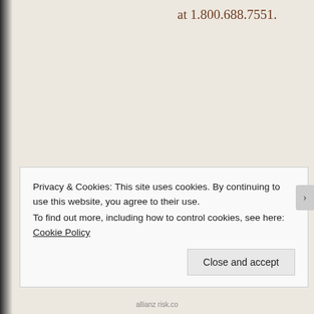at 1.800.688.7551.
Privacy & Cookies: This site uses cookies. By continuing to use this website, you agree to their use.
To find out more, including how to control cookies, see here: Cookie Policy
Close and accept